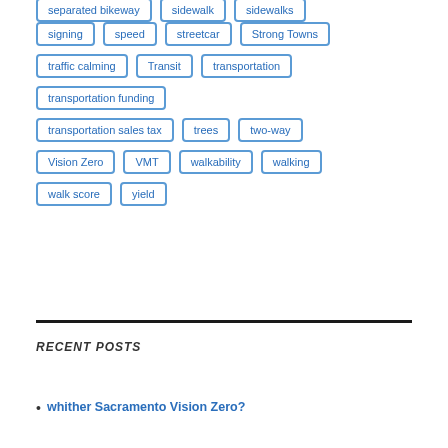separated bikeway
sidewalk
sidewalks
signing
speed
streetcar
Strong Towns
traffic calming
Transit
transportation
transportation funding
transportation sales tax
trees
two-way
Vision Zero
VMT
walkability
walking
walk score
yield
RECENT POSTS
whither Sacramento Vision Zero?